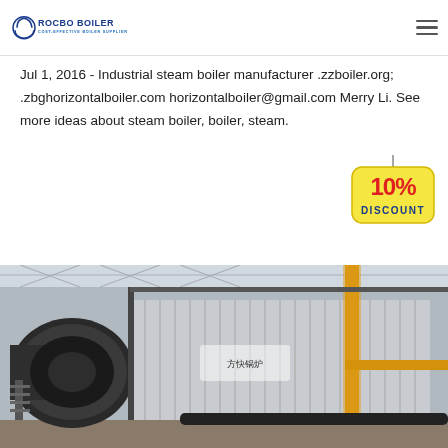ROCBO BOILER - COST-EFFECTIVE BOILER SUPPLIER
Jul 1, 2016 - Industrial steam boiler manufacturer .zzboiler.org; .zbghorizontalboiler.com horizontalboiler@gmail.com Merry Li. See more ideas about steam boiler, boiler, steam.
[Figure (other): Green 'Get Price' button and 10% DISCOUNT tag]
[Figure (photo): Industrial steam boiler in a factory/warehouse, large cylindrical boiler unit with yellow pipe and metallic corrugated cladding]